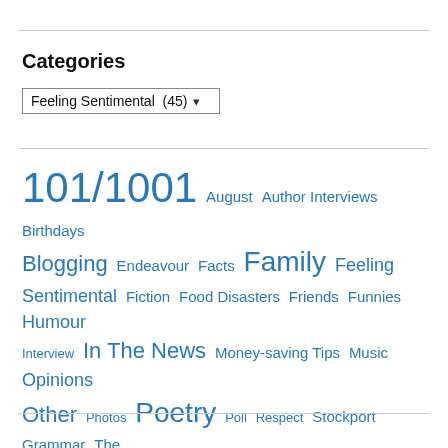Categories
Feeling Sentimental  (45) ▾
101/1001  August  Author Interviews  Birthdays  Blogging  Endeavour  Facts  Family  Feeling Sentimental  Fiction  Food Disasters  Friends  Funnies  Humour  Interview  In The News  Money-saving Tips  Music  Opinions  Other  Photos  Poetry  Poll  Respect  Stockport Grammar  The Friday Laugh  Uncategorized  Words